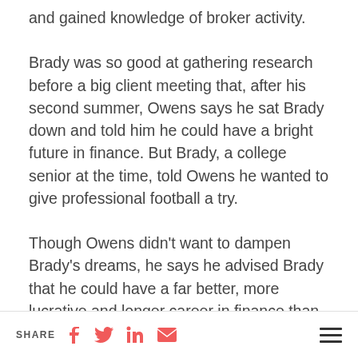and gained knowledge of broker activity.
Brady was so good at gathering research before a big client meeting that, after his second summer, Owens says he sat Brady down and told him he could have a bright future in finance. But Brady, a college senior at the time, told Owens he wanted to give professional football a try.
Though Owens didn't want to dampen Brady's dreams, he says he advised Brady that he could have a far better, more lucrative and longer career in finance than he ever would in football.
“You have to think about your long-term future,”
SHARE